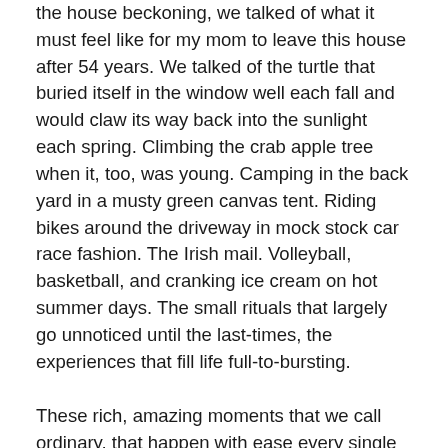the house beckoning, we talked of what it must feel like for my mom to leave this house after 54 years. We talked of the turtle that buried itself in the window well each fall and would claw its way back into the sunlight each spring. Climbing the crab apple tree when it, too, was young. Camping in the back yard in a musty green canvas tent. Riding bikes around the driveway in mock stock car race fashion. The Irish mail. Volleyball, basketball, and cranking ice cream on hot summer days. The small rituals that largely go unnoticed until the last-times, the experiences that fill life full-to-bursting.
These rich, amazing moments that we call ordinary, that happen with ease every single day, that pass unnoticed or unappreciated until the-last-time.
She asked me what I felt and my answer surprised me.